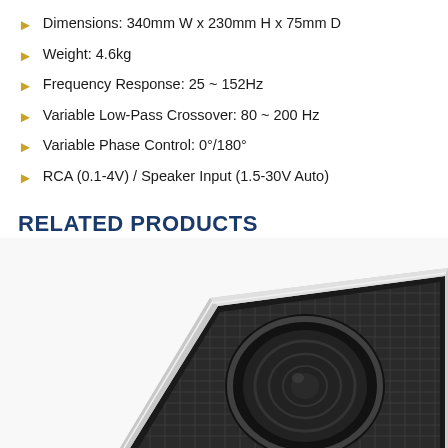Dimensions: 340mm W x 230mm H x 75mm D
Weight: 4.6kg
Frequency Response: 25 ~ 152Hz
Variable Low-Pass Crossover: 80 ~ 200 Hz
Variable Phase Control: 0°/180°
RCA (0.1-4V) / Speaker Input (1.5-30V Auto)
RELATED PRODUCTS
[Figure (photo): Photo of a black car subwoofer/speaker with chrome trim, viewed from above at an angle, showing the speaker cone and grille mesh.]